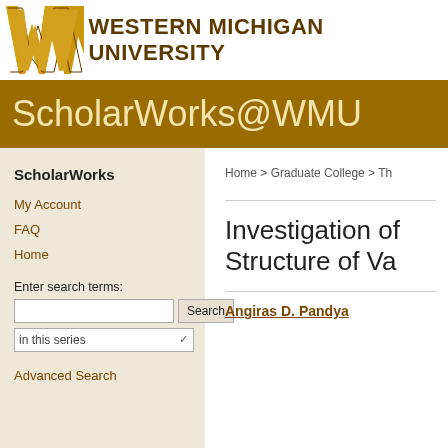[Figure (logo): Western Michigan University W logo in gold/brown and the text WESTERN MICHIGAN UNIVERSITY]
ScholarWorks@WMU
ScholarWorks
My Account
FAQ
Home
Enter search terms:
Advanced Search
Home > Graduate College > Th
Investigation of Structure of Va
Angiras D. Pandya